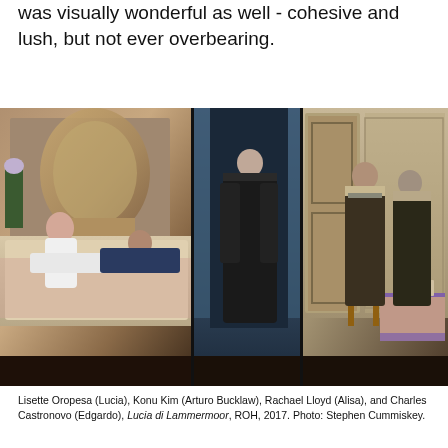was visually wonderful as well - cohesive and lush, but not ever overbearing.
[Figure (photo): Opera production composite photo showing three scenes from Lucia di Lammermoor at the ROH: left panel shows a bedroom scene with figures on a bed, center panel shows a figure in dark clothing in a doorway, right panel shows two male figures in a room with period furniture.]
Lisette Oropesa (Lucia), Konu Kim (Arturo Bucklaw), Rachael Lloyd (Alisa), and Charles Castronovo (Edgardo), Lucia di Lammermoor, ROH, 2017. Photo: Stephen Cummiskey.